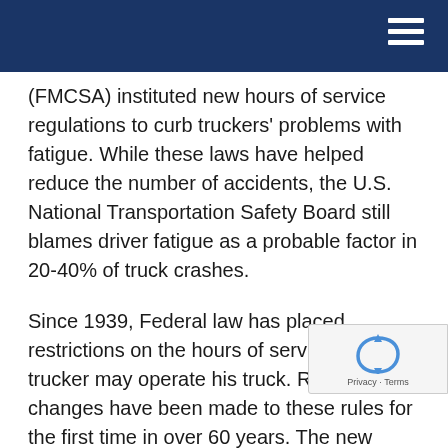(FMCSA) instituted new hours of service regulations to curb truckers' problems with fatigue. While these laws have helped reduce the number of accidents, the U.S. National Transportation Safety Board still blames driver fatigue as a probable factor in 20-40% of truck crashes.
Since 1939, Federal law has placed restrictions on the hours of service that a trucker may operate his truck. Recent changes have been made to these rules for the first time in over 60 years. The new rules are designed to reduce the effect of cumulative fatigue and prevent many of the accidents and fatalities to which fatigue is a contributing factor for big rig drivers.
Truck driver fatigue can have devastating consequences to others on the road. In 2003, the over 4,600 fatal wrecks involving large commerci… trucks.